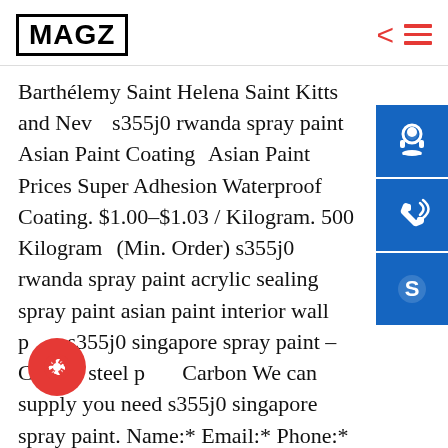MAGZ
Barthélemy Saint Helena Saint Kitts and Nevis s355j0 rwanda spray paint Asian Paint Coating Asian Paint Prices Super Adhesion Waterproof Coating. $1.00-$1.03 / Kilogram. 500 Kilogram (Min. Order) s355j0 rwanda spray paint acrylic sealing spray paint asian paint interior wall paint s355j0 singapore spray paint – Carbon steel plate Carbon We can supply you need s355j0 singapore spray paint. Name:* Email:* Phone:* Message:* 10 Best Spray Painting & Finishing in Singapore [Updated . Find the top Spray Painting & Finishing in Singapore today. With over 31 listings, get the best and most reliable Spray Painting & Finishing